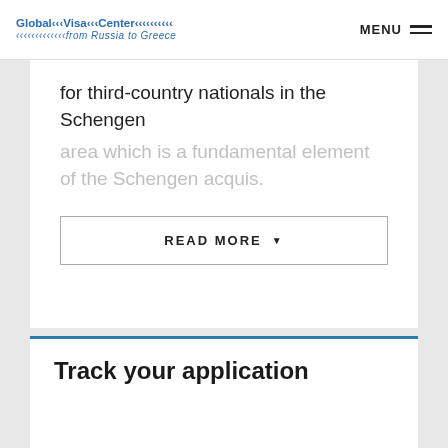Global Visa Center from Russia to Greece | MENU
for third-country nationals in the Schengen area which is a fundamental element of the Schengen acquis.
READ MORE
Track your application